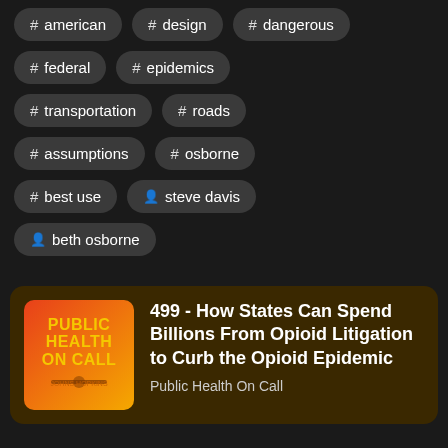# american
# design
# dangerous
# federal
# epidemics
# transportation
# roads
# assumptions
# osborne
# best use
person steve davis
person beth osborne
[Figure (other): Public Health On Call podcast thumbnail with orange/yellow gradient background and bold yellow text]
499 - How States Can Spend Billions From Opioid Litigation to Curb the Opioid Epidemic
Public Health On Call